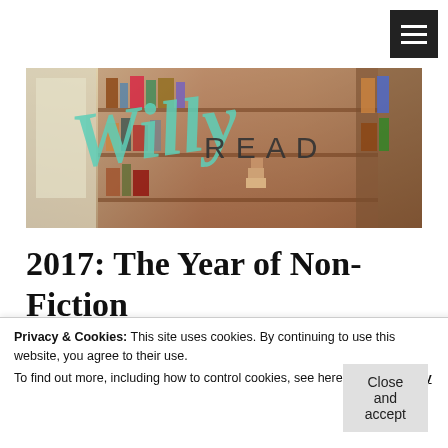[Figure (screenshot): Hamburger menu button (three white lines on black background) in the top right corner]
[Figure (photo): Banner image of a bookshelf/library with a cursive script overlay reading 'Willy' in teal and the word READ in plain text, over a warm-toned photograph of bookshelves]
2017: The Year of Non-Fiction
Privacy & Cookies: This site uses cookies. By continuing to use this website, you agree to their use.
To find out more, including how to control cookies, see here: Cookie Policy
Close and accept